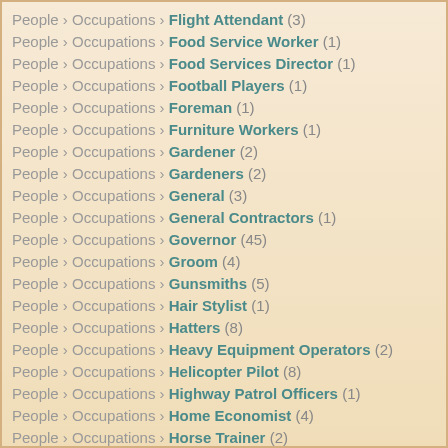People › Occupations › Flight Attendant (3)
People › Occupations › Food Service Worker (1)
People › Occupations › Food Services Director (1)
People › Occupations › Football Players (1)
People › Occupations › Foreman (1)
People › Occupations › Furniture Workers (1)
People › Occupations › Gardener (2)
People › Occupations › Gardeners (2)
People › Occupations › General (3)
People › Occupations › General Contractors (1)
People › Occupations › Governor (45)
People › Occupations › Groom (4)
People › Occupations › Gunsmiths (5)
People › Occupations › Hair Stylist (1)
People › Occupations › Hatters (8)
People › Occupations › Heavy Equipment Operators (2)
People › Occupations › Helicopter Pilot (8)
People › Occupations › Highway Patrol Officers (1)
People › Occupations › Home Economist (4)
People › Occupations › Horse Trainer (2)
People › Occupations › Horticulturist (4)